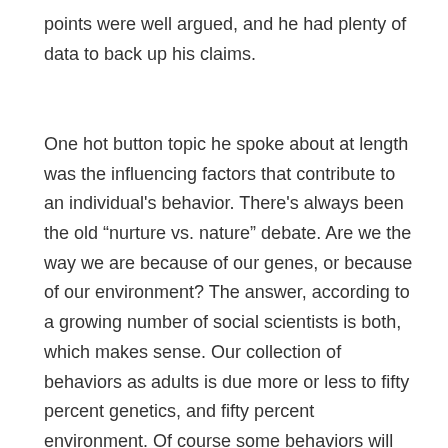points were well argued, and he had plenty of data to back up his claims.
One hot button topic he spoke about at length was the influencing factors that contribute to an individual's behavior. There's always been the old “nurture vs. nature” debate. Are we the way we are because of our genes, or because of our environment? The answer, according to a growing number of social scientists is both, which makes sense. Our collection of behaviors as adults is due more or less to fifty percent genetics, and fifty percent environment. Of course some behaviors will be influenced much more than others than environment, so not every individual behavior is fifty-fifty. But taken collectively, our general behaviors, beliefs, ideas, and personalities all mashed into who we are (or who we think we are) is roughly fifty percent from our genes, and fifty